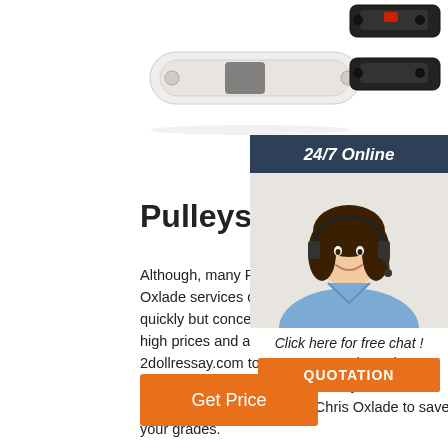[Figure (photo): Photo of white plastic sliding bolt/pulley hardware component on white background]
[Figure (photo): Photo of black metal sliding bolt/pulley hardware component on white background]
[Figure (photo): Customer support woman with headset smiling, part of 24/7 Online chat widget]
Pulleys (Simple Machine
Although, many Pulleys (Simple Machines) Chris Oxlade services claim to deliver your essa quickly but concern is pricing. Say Good B high prices and avail the opportunity offere 2dollressay.com to save your grades. Che Essay Writing Service USA is all you need Pulleys (Simple Machines) Chris Oxlade to save your grades.
Get Price